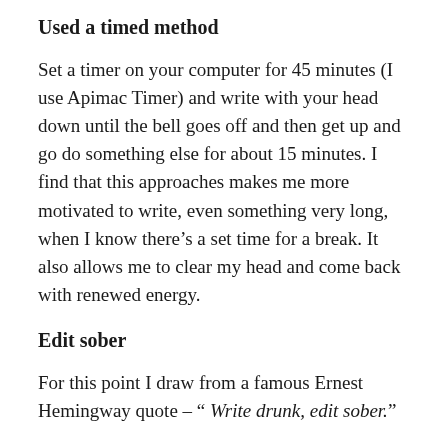Used a timed method
Set a timer on your computer for 45 minutes (I use Apimac Timer) and write with your head down until the bell goes off and then get up and go do something else for about 15 minutes. I find that this approaches makes me more motivated to write, even something very long, when I know there's a set time for a break. It also allows me to clear my head and come back with renewed energy.
Edit sober
For this point I draw from a famous Ernest Hemingway quote – “ Write drunk, edit sober.”